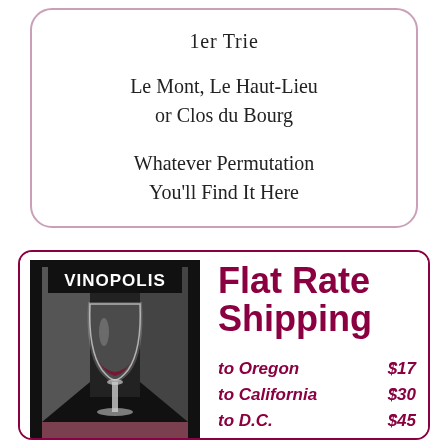1er Trie
Le Mont, Le Haut-Lieu
or Clos du Bourg
Whatever Permutation
You'll Find It Here
[Figure (logo): Vinopolis logo with wine glass illustration, black background with geometric shapes]
Flat Rate Shipping
to Oregon    $17
to California $30
to D.C.       $45